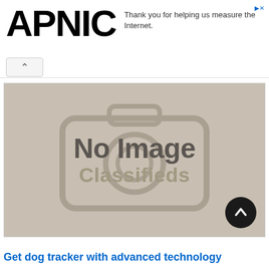APNIC — Thank you for helping us measure the Internet.
[Figure (photo): No Image Classifieds placeholder — a beige/tan rectangle with a faint camera icon watermark and the text 'No Image' above 'Classifieds' in gray, with a dark circular scroll-to-top button in the lower right corner.]
Get dog tracker with advanced technology